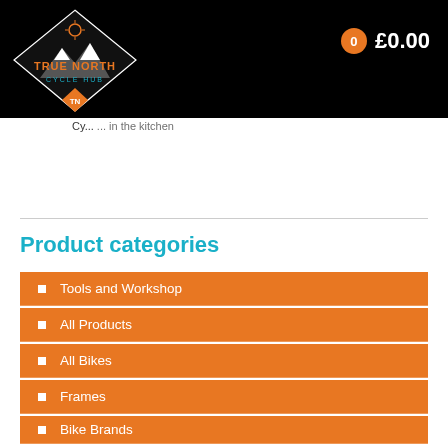[Figure (logo): True North Cycle Hub diamond-shaped logo with orange and teal text on black background, showing mountains and a compass]
£0.00
(partially visible navigation text)
Product categories
Tools and Workshop
All Products
All Bikes
Frames
Bike Brands
Sweet Protection
Raleigh
Fantic